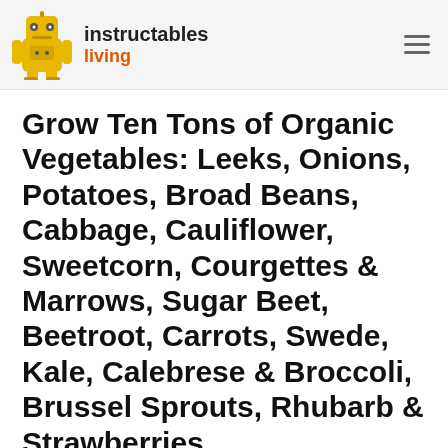instructables living
Grow Ten Tons of Organic Vegetables: Leeks, Onions, Potatoes, Broad Beans, Cabbage, Cauliflower, Sweetcorn, Courgettes & Marrows, Sugar Beet, Beetroot, Carrots, Swede, Kale, Calebrese & Broccoli, Brussel Sprouts, Rhubarb & Strawberries
By Tecwyn Twmffat in Living > Homesteading
151,273  817  111  Featured